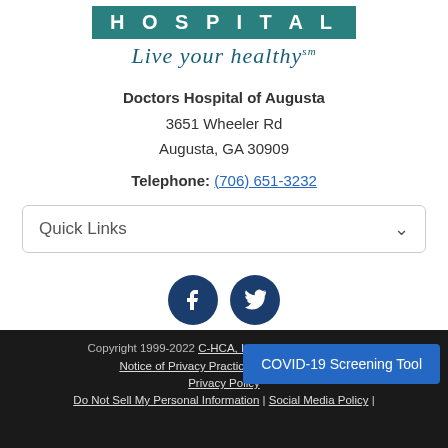[Figure (logo): Doctors Hospital logo with teal background and white text reading HOSPITAL]
Live your healthy℠
Doctors Hospital of Augusta
3651 Wheeler Rd
Augusta, GA 30909
Telephone: (706) 651-3232
Quick Links
[Figure (illustration): Facebook and Twitter social media icons as dark navy circular buttons]
Copyright 1999-2022 C-HCA, Inc.; All rights reserved.
Notice of Privacy Practices | Terms & C... | Privacy Policy
Do Not Sell My Personal Information | Social Media Policy |
COVID-19 Screening Tool